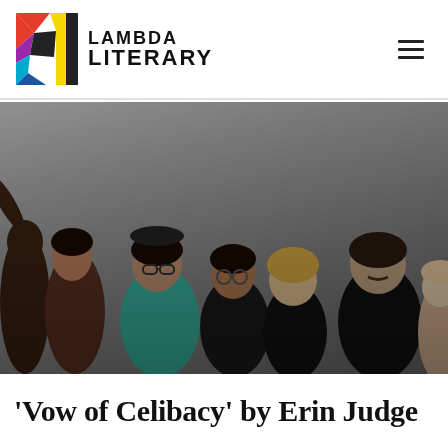Lambda Literary
[Figure (photo): Group photo of approximately 7-8 diverse people posing together, smiling and making gestures, against a grey background. The image is slightly darkened/muted.]
'Vow of Celibacy' by Erin Judge